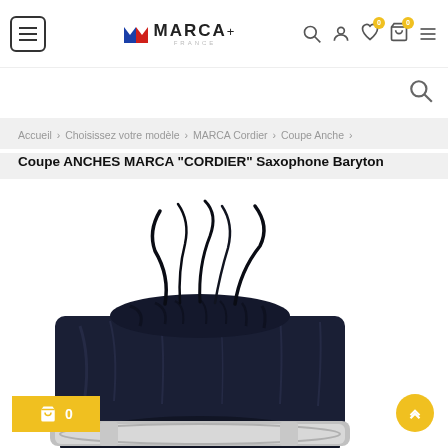MARCA France website header with menu, logo, search, user, wishlist, cart, and list icons
Accueil > Choisissez votre modèle > MARCA Cordier > Coupe Anche >
Coupe ANCHES MARCA "CORDIER" Saxophone Baryton
[Figure (photo): Product photo showing a dark navy blue drawstring pouch bag with black cord ties and a silver/chrome metal ligature for saxophone visible at the bottom, on a white background]